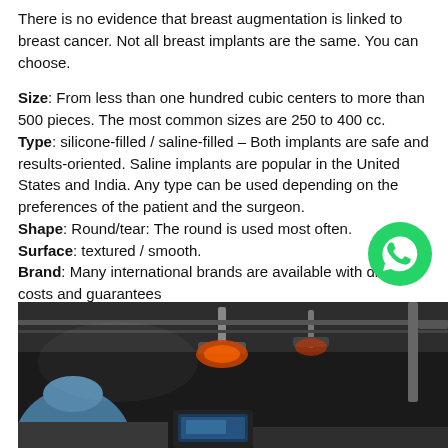There is no evidence that breast augmentation is linked to breast cancer. Not all breast implants are the same. You can choose.
Size: From less than one hundred cubic centers to more than 500 pieces. The most common sizes are 250 to 400 cc. Type: silicone-filled / saline-filled – Both implants are safe and results-oriented. Saline implants are popular in the United States and India. Any type can be used depending on the preferences of the patient and the surgeon. Shape: Round/tear: The round is used most often. Surface: textured / smooth. Brand: Many international brands are available with different costs and guarantees
[Figure (photo): Operating room scene showing a surgeon in blue scrubs and cap, with surgical lighting equipment overhead and a monitor visible in the background.]